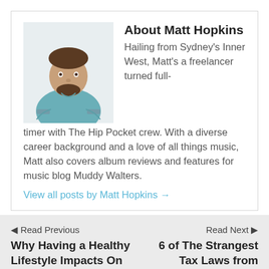[Figure (photo): Headshot photo of Matt Hopkins, a young man with a beard wearing a teal/blue polo shirt with tattoos visible on his arms, standing against a light background.]
About Matt Hopkins
Hailing from Sydney's Inner West, Matt's a freelancer turned full-timer with The Hip Pocket crew. With a diverse career background and a love of all things music, Matt also covers album reviews and features for music blog Muddy Walters.
View all posts by Matt Hopkins →
◄ Read Previous
Why Having a Healthy Lifestyle Impacts On Your Career
Read Next ►
6 of The Strangest Tax Laws from Around the World